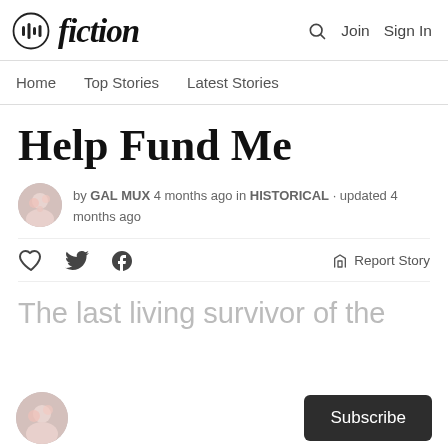fiction — Join  Sign In
Home  Top Stories  Latest Stories
Help Fund Me
by GAL MUX 4 months ago in HISTORICAL · updated 4 months ago
Report Story
The last living survivor of the
Subscribe